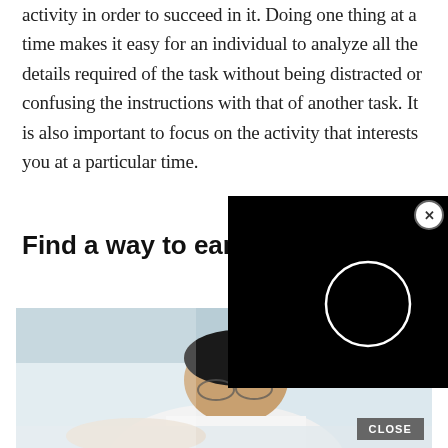activity in order to succeed in it. Doing one thing at a time makes it easy for an individual to analyze all the details required of the task without being distracted or confusing the instructions with that of another task. It is also important to focus on the activity that interests you at a particular time.
Find a way to earn
[Figure (screenshot): Video player overlay with black background, white circle play button indicator, and a close X button in top-right corner]
[Figure (photo): A person with dark hair wearing glasses, leaning over a desk or work surface, photographed from above/side in a bright office or lab environment]